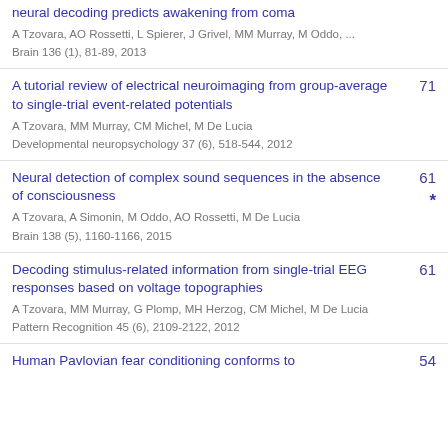neural decoding predicts awakening from coma
A Tzovara, AO Rossetti, L Spierer, J Grivel, MM Murray, M Oddo, ...
Brain 136 (1), 81-89, 2013
A tutorial review of electrical neuroimaging from group-average to single-trial event-related potentials
A Tzovara, MM Murray, CM Michel, M De Lucia
Developmental neuropsychology 37 (6), 518-544, 2012
71
Neural detection of complex sound sequences in the absence of consciousness
A Tzovara, A Simonin, M Oddo, AO Rossetti, M De Lucia
Brain 138 (5), 1160-1166, 2015
61 *
Decoding stimulus-related information from single-trial EEG responses based on voltage topographies
A Tzovara, MM Murray, G Plomp, MH Herzog, CM Michel, M De Lucia
Pattern Recognition 45 (6), 2109-2122, 2012
61
Human Pavlovian fear conditioning conforms to
54